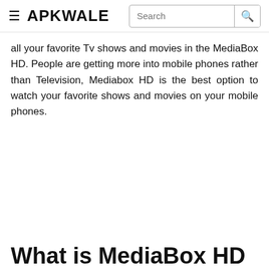≡ APKWALE  Search 🔍
all your favorite Tv shows and movies in the MediaBox HD. People are getting more into mobile phones rather than Television, Mediabox HD is the best option to watch your favorite shows and movies on your mobile phones.
What is MediaBox HD